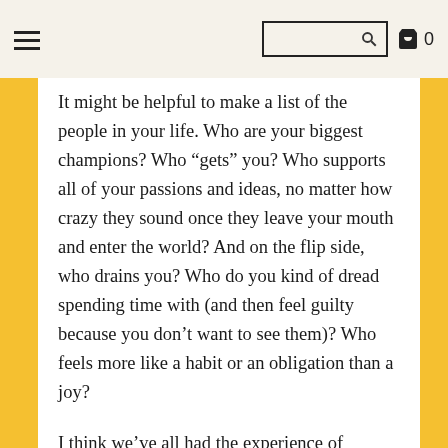≡  [search] 🛍 0
It might be helpful to make a list of the people in your life. Who are your biggest champions? Who “gets” you? Who supports all of your passions and ideas, no matter how crazy they sound once they leave your mouth and enter the world? And on the flip side, who drains you? Who do you kind of dread spending time with (and then feel guilty because you don’t want to see them)? Who feels more like a habit or an obligation than a joy?
I think we’ve all had the experience of someone who used to be an important part